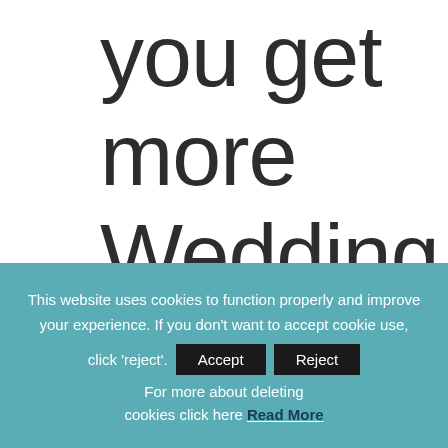you get more Wedding Couples
This website uses cookies to function properly and improve your experience. If you don't want to accept cookie use, click 'reject'. For more about deleting cookies click here Read More